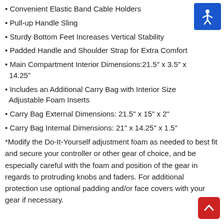• Convenient Elastic Band Cable Holders
• Pull-up Handle Sling
• Sturdy Bottom Feet Increases Vertical Stability
• Padded Handle and Shoulder Strap for Extra Comfort
• Main Compartment Interior Dimensions:21.5" x 3.5" x 14.25"
• Includes an Additional Carry Bag with Interior Size Adjustable Foam Inserts
• Carry Bag External Dimensions: 21.5" x 15" x 2"
• Carry Bag Internal Dimensions: 21" x 14.25" x 1.5"
*Modify the Do-It-Yourself adjustment foam as needed to best fit and secure your controller or other gear of choice, and be especially careful with the foam and position of the gear in regards to protruding knobs and faders. For additional protection use optional padding and/or face covers with your gear if necessary.